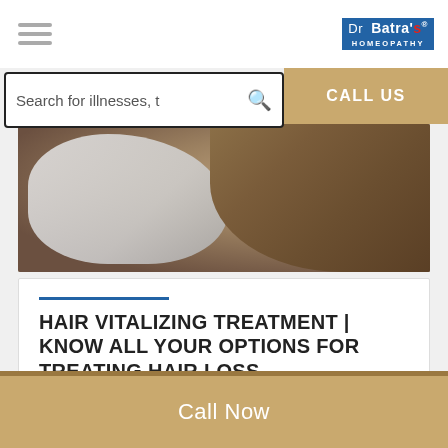Dr Batra's HOMEOPATHY
Search for illnesses, t
CALL US
[Figure (photo): Close-up photo of a doctor in white gloves examining a patient's scalp/hair]
HAIR VITALIZING TREATMENT | KNOW ALL YOUR OPTIONS FOR TREATING HAIR LOSS
Posted byDr Batra's™
Call Now